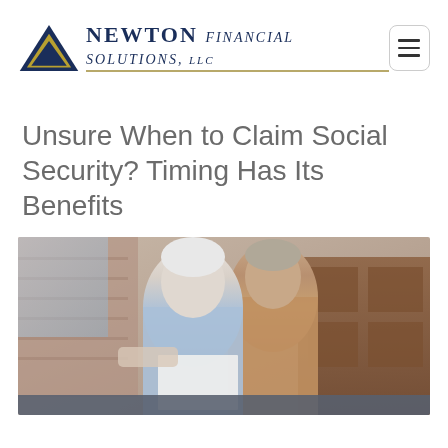[Figure (logo): Newton Financial Solutions LLC logo with blue triangle and gold underline]
Unsure When to Claim Social Security? Timing Has Its Benefits
[Figure (photo): Elderly couple reviewing a document together, seated indoors with brick wall and wooden furniture in background]